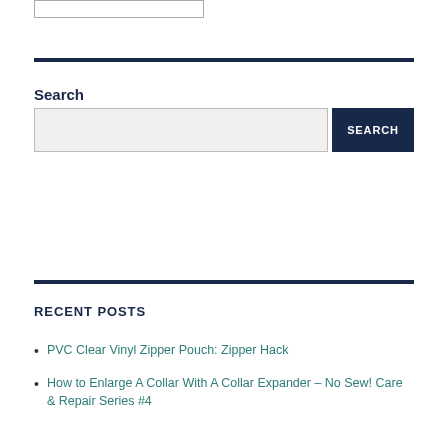Search
SEARCH (button)
RECENT POSTS
PVC Clear Vinyl Zipper Pouch: Zipper Hack
How to Enlarge A Collar With A Collar Expander – No Sew! Care & Repair Series #4